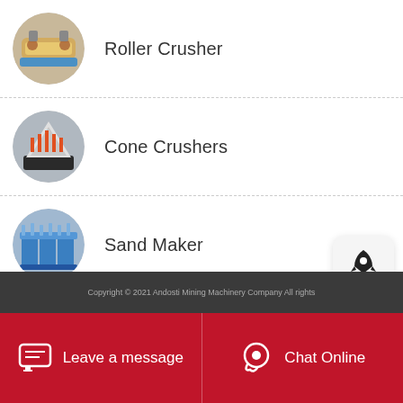Roller Crusher
Cone Crushers
Sand Maker
Copyright © 2021 Andosti Mining Machinery Company All rights
Leave a message
Chat Online